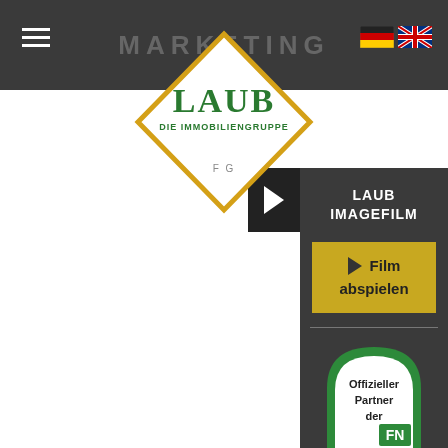MARKETING
[Figure (logo): Laub Die Immobiliengruppe logo inside a diamond/rhombus shape with gold border on white background]
[Figure (illustration): German and UK flag icons for language selection]
[Figure (infographic): Right arrow button (play/next) in dark box]
LAUB IMAGEFILM
Film abspielen
[Figure (logo): Offizieller Partner der FN badge with green arch shape]